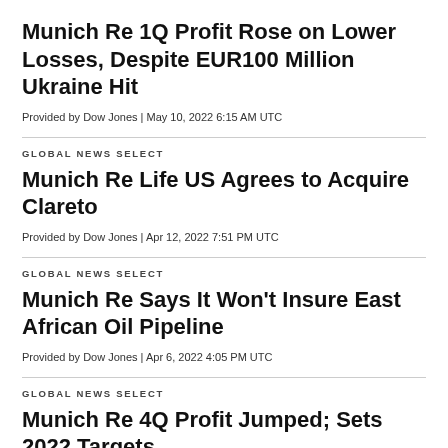Munich Re 1Q Profit Rose on Lower Losses, Despite EUR100 Million Ukraine Hit
Provided by Dow Jones | May 10, 2022 6:15 AM UTC
GLOBAL NEWS SELECT
Munich Re Life US Agrees to Acquire Clareto
Provided by Dow Jones | Apr 12, 2022 7:51 PM UTC
GLOBAL NEWS SELECT
Munich Re Says It Won't Insure East African Oil Pipeline
Provided by Dow Jones | Apr 6, 2022 4:05 PM UTC
GLOBAL NEWS SELECT
Munich Re 4Q Profit Jumped; Sets 2022 Targets